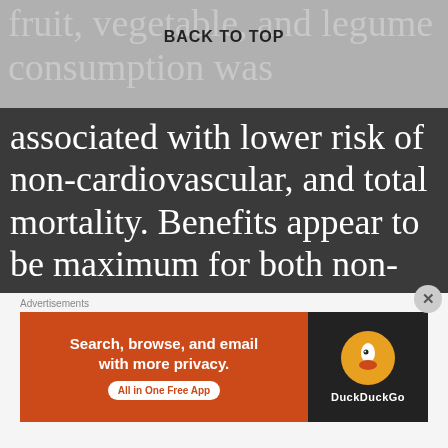fruit, vegetable, and legume consumption was
BACK TO TOP
associated with lower risk of non-cardiovascular, and total mortality. Benefits appear to be maximum for both non-cardiovascular mortality and total mortality at three to four servings per day (equivalent
[Figure (infographic): DuckDuckGo advertisement banner: 'Search, browse, and email with more privacy. All in One Free App' with DuckDuckGo logo on dark background.]